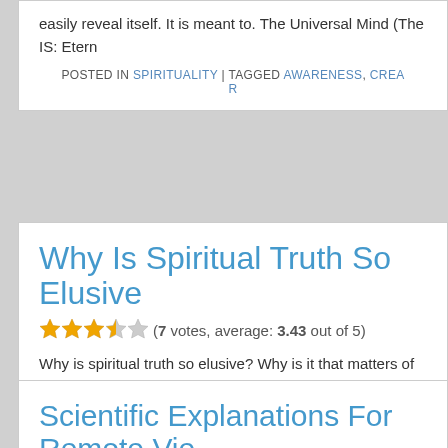easily reveal itself. It is meant to. The Universal Mind (The IS: Etern...
POSTED IN SPIRITUALITY | TAGGED AWARENESS, CREA... R...
Why Is Spiritual Truth So Elusive
(7 votes, average: 3.43 out of 5)
Why is spiritual truth so elusive? Why is it that matters of spiritual si... validate? I have been pondering hard on this subject for quite some... Spiritual truth is so elusive possibly because of several factors. The... [...]
POSTED IN SPIRITUALITY | TAGGED BELIEFS, REALITY, SPIR...
Scientific Explanations For Remote Vie...
(No Ratings Yet)